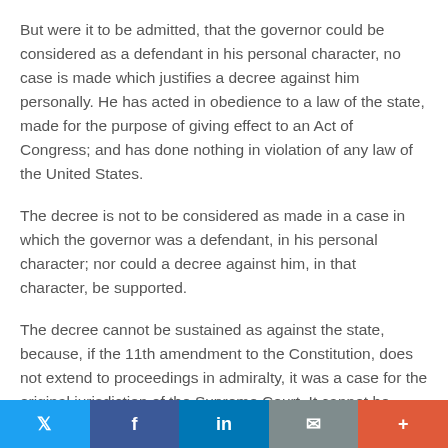But were it to be admitted, that the governor could be considered as a defendant in his personal character, no case is made which justifies a decree against him personally. He has acted in obedience to a law of the state, made for the purpose of giving effect to an Act of Congress; and has done nothing in violation of any law of the United States.
The decree is not to be considered as made in a case in which the governor was a defendant, in his personal character; nor could a decree against him, in that character, be supported.
The decree cannot be sustained as against the state, because, if the 11th amendment to the Constitution, does not extend to proceedings in admiralty, it was a case for the original jurisdiction of the Supreme Court. It cannot be sustained as a suit, prosecuted not against the state but
Twitter | Facebook | LinkedIn | Email | More